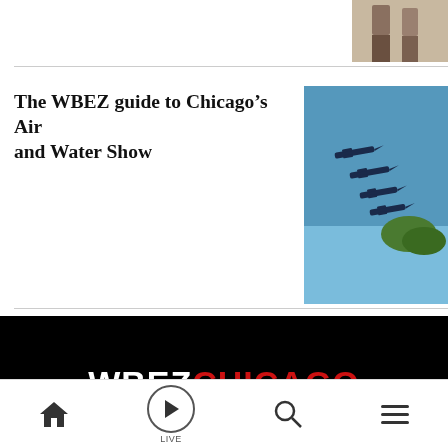[Figure (photo): Partial thumbnail image of people (legs visible), top-right corner]
The WBEZ guide to Chicago’s Air and Water Show
[Figure (photo): Photo of Blue Angels jets flying in formation over water with trees]
[Figure (logo): WBEZ Chicago logo — WBEZ in white, CHICAGO in red, on black background]
[Figure (infographic): Social media icons: Twitter, Facebook, Instagram, YouTube — white icons on grey circular backgrounds]
[Figure (infographic): Bottom navigation bar with home, live play, search, and menu icons]